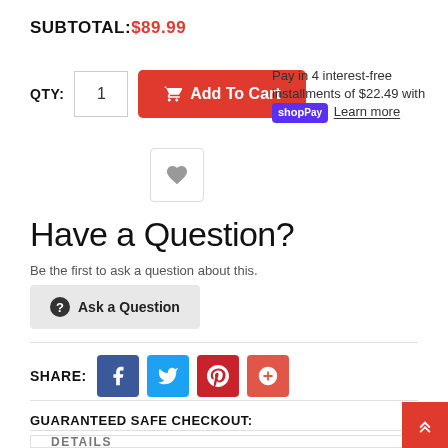SUBTOTAL: $89.99
QTY: 1   Add To Cart   Pay in 4 interest-free installments of $22.49 with Shop Pay  Learn more
Have a Question?
Be the first to ask a question about this.
Ask a Question
SHARE:
GUARANTEED SAFE CHECKOUT:
DETAILS